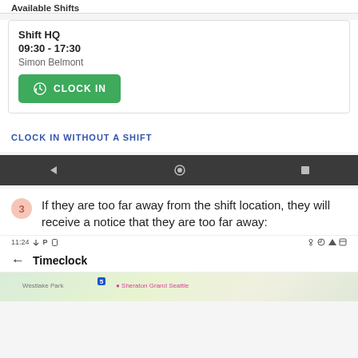Available Shifts
[Figure (screenshot): Mobile app shift card showing Shift HQ, 09:30 - 17:30, Simon Belmont, with a green CLOCK IN button]
CLOCK IN WITHOUT A SHIFT
[Figure (screenshot): Android navigation bar with back, home, and recent apps buttons]
If they are too far away from the shift location, they will receive a notice that they are too far away:
[Figure (screenshot): Mobile app screenshot showing Timeclock app header with status bar at 11:24, and a map showing Westlake Park and Sheraton Grand Seattle]